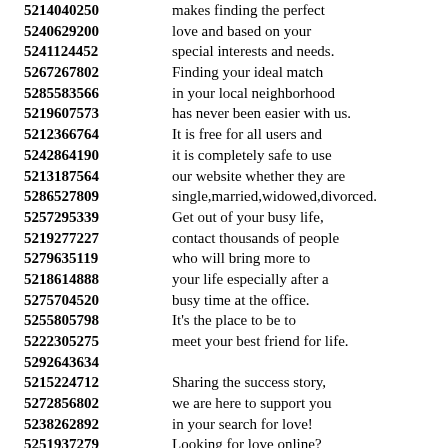5214040250 makes finding the perfect
5240629200 love and based on your
5241124452 special interests and needs.
5267267802 Finding your ideal match
5285583566 in your local neighborhood
5219607573 has never been easier with us.
5212366764 It is free for all users and
5242864190 it is completely safe to use
5213187564 our website whether they are
5286527809 single,married,widowed,divorced.
5257295339 Get out of your busy life,
5219277227 contact thousands of people
5279635119 who will bring more to
5218614888 your life especially after a
5275704520 busy time at the office.
5255805798 It's the place to be to
5222305275 meet your best friend for life.
5292643634
5215224712 Sharing the success story,
5272856802 we are here to support you
5238262892 in your search for love!
5251937279 Looking for love online?
5221354273 You've come to the right place.
5249387535 It makes it easy for you to
5290799280 choose between the candidates
5259275284 with the potential to become